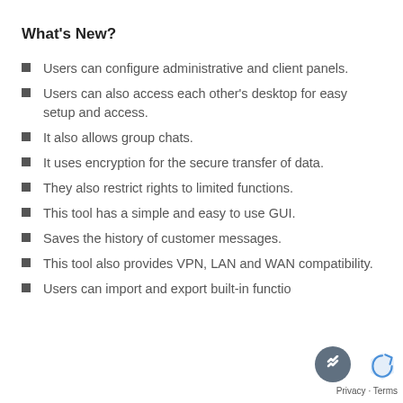What’s New?
Users can configure administrative and client panels.
Users can also access each other’s desktop for easy setup and access.
It also allows group chats.
It uses encryption for the secure transfer of data.
They also restrict rights to limited functions.
This tool has a simple and easy to use GUI.
Saves the history of customer messages.
This tool also provides VPN, LAN and WAN compatibility.
Users can import and export built-in functio…